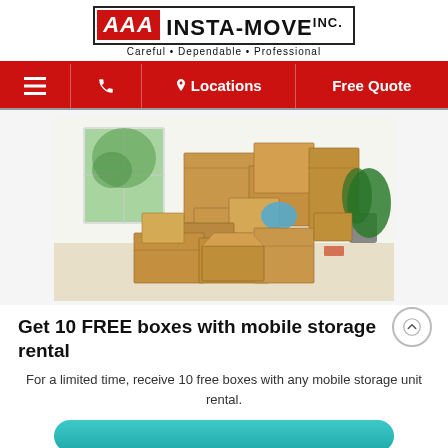[Figure (logo): AAA INSTA-MOVE INC. logo with red AAA block and black INSTA-MOVE INC. text, tagline: Careful · Dependable · Professional]
[Figure (screenshot): Red navigation bar with hamburger menu, phone icon, Locations (with pin icon), and Free Quote buttons]
[Figure (photo): Photo of a pile of brown cardboard moving boxes stacked in a bright room with a window and a green plant]
Get 10 FREE boxes with mobile storage rental
For a limited time, receive 10 free boxes with any mobile storage unit rental.
[Figure (other): Partial teal/cyan rounded CTA button at bottom of page]